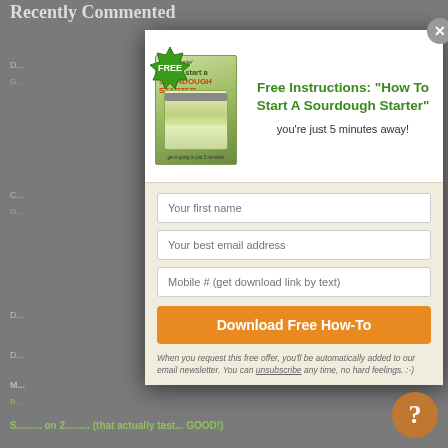[Figure (screenshot): A popup/modal overlay on a webpage. The modal contains a book cover image for 'How to Start a Sourdough Starter' with a FREE badge, a headline 'Free Instructions: "How To Start A Sourdough Starter"', subtext 'you're just 5 minutes away!', form fields for first name, email address, and mobile number, a Download Free How-To button, and a disclaimer. A close X button appears in the top right of the modal. The background shows a dimmed webpage with 'Recently Commented' content.]
Recently Commented
Free Instructions: "How To Start A Sourdough Starter"
you're just 5 minutes away!
Your first name
Your best email address
Mobile # (get download link by text)
Download Free How-To
When you request this free offer, you'll be automatically added to our email newsletter. You can unsubscribe any time, no hard feelings. :-)